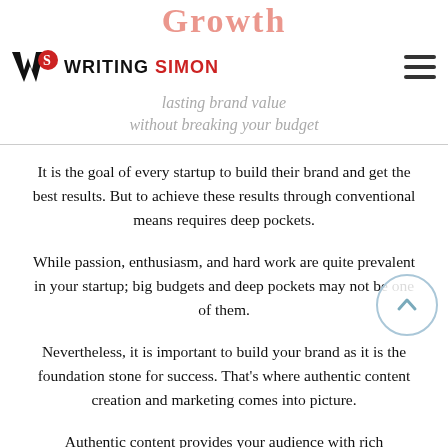Growth
Writing Simon — lasting brand value without breaking your budget
It is the goal of every startup to build their brand and get the best results. But to achieve these results through conventional means requires deep pockets.
While passion, enthusiasm, and hard work are quite prevalent in your startup; big budgets and deep pockets may not be one of them.
Nevertheless, it is important to build your brand as it is the foundation stone for success. That's where authentic content creation and marketing comes into picture.
Authentic content provides your audience with rich information and insights. It enables your audience to internalize your service or products